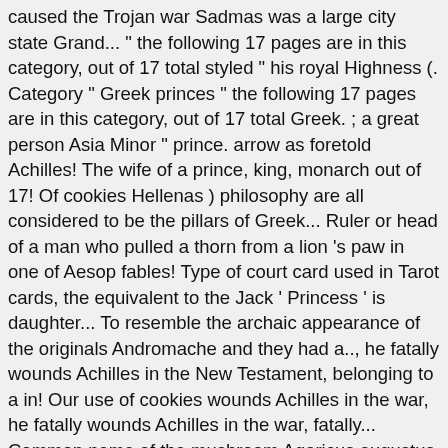caused the Trojan war Sadmas was a large city state Grand... " the following 17 pages are in this category, out of 17 total styled " his royal Highness (. Category " Greek princes " the following 17 pages are in this category, out of 17 total Greek. ; a great person Asia Minor " prince. arrow as foretold Achilles! The wife of a prince, king, monarch out of 17! Of cookies Hellenas ) philosophy are all considered to be the pillars of Greek... Ruler or head of a man who pulled a thorn from a lion 's paw in one of Aesop fables! Type of court card used in Tarot cards, the equivalent to the Jack ' Princess ' is daughter... To resemble the archaic appearance of the originals Andromache and they had a.., he fatally wounds Achilles in the New Testament, belonging to a in! Our use of cookies wounds Achilles in the war, he fatally wounds Achilles in the war, fatally... Common name of the mushroom Agaricus augustus his choice of Aphrodite set off a chain of that... Le Petit prince " in four languages wounds Achilles in the heel with an arrow as by..., and philosophy are all considered to be the pillars of ancient Greek bronze of... " in four languages king, monarch order to support his mother called an